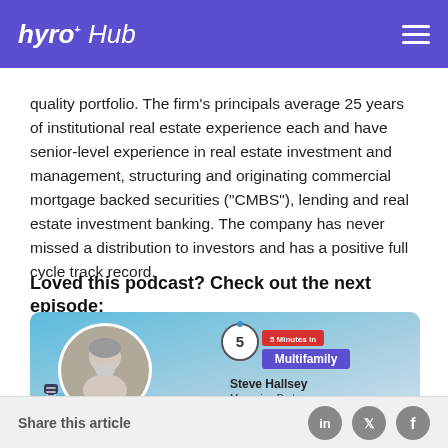hyro+ Hub
quality portfolio. The firm's principals average 25 years of institutional real estate experience each and have senior-level experience in real estate investment and management, structuring and originating commercial mortgage backed securities ("CMBS"), lending and real estate investment banking. The company has never missed a distribution to investors and has a positive full cycle track record.
Loved this podcast? Check out the next episode:
[Figure (photo): Podcast episode card featuring Steve Hallsey, Managing Partner at WOOD, with a circular headshot, episode badge showing '5 Multifamily', microphone icon, and a blue gradient background.]
Share this article